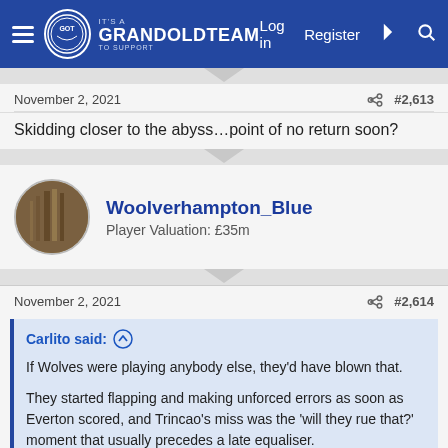It's a GRANDOLDTEAM TO SUPPORT — Log in  Register
November 2, 2021  #2,613
Skidding closer to the abyss…point of no return soon?
Woolverhampton_Blue
Player Valuation: £35m
November 2, 2021  #2,614
Carlito said: ↑

If Wolves were playing anybody else, they'd have blown that.

They started flapping and making unforced errors as soon as Everton scored, and Trincao's miss was the 'will they rue that?' moment that usually precedes a late equaliser.

Instead, their keeper made a grand total of one save in the last 20-odd minutes.